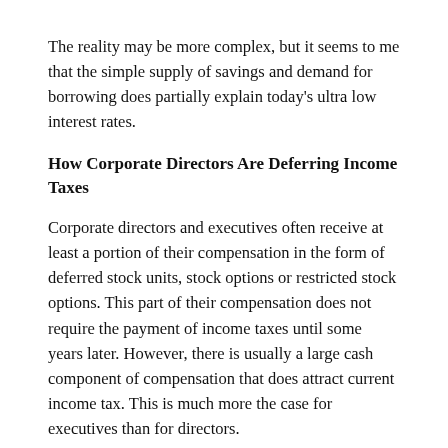The reality may be more complex, but it seems to me that the simple supply of savings and demand for borrowing does partially explain today's ultra low interest rates.
How Corporate Directors Are Deferring Income Taxes
Corporate directors and executives often receive at least a portion of their compensation in the form of deferred stock units, stock options or restricted stock options. This part of their compensation does not require the payment of income taxes until some years later. However, there is usually a large cash component of compensation that does attract current income tax. This is much more the case for executives than for directors.
However, I recently saw that a number of companies